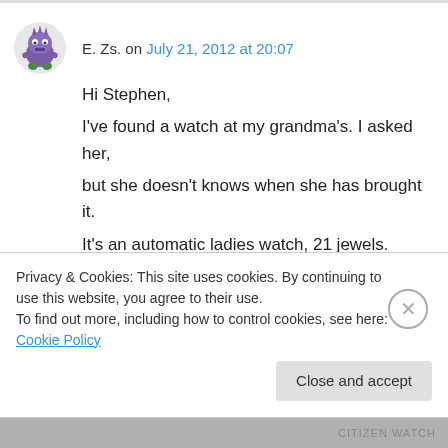E. Zs. on July 21, 2012 at 20:07
Hi Stephen,

I've found a watch at my grandma's. I asked her, but she doesn't knows when she has brought it. It's an automatic ladies watch, 21 jewels. Here is its number:

CITIZEN

WATCH CO.

4-169191-CMB...
Privacy & Cookies: This site uses cookies. By continuing to use this website, you agree to their use.
To find out more, including how to control cookies, see here: Cookie Policy